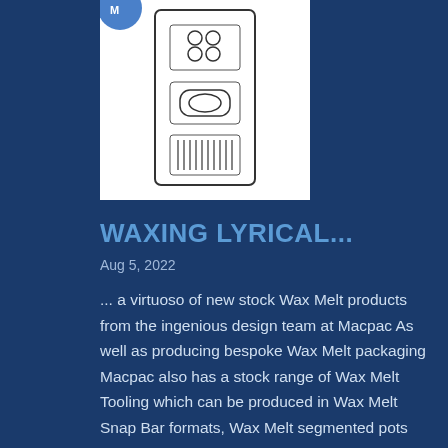[Figure (illustration): White rectangular product illustration showing a wax melt packaging tool/mold with circular elements at top, a middle section with a cylindrical component, and a bottom section with a grid/bar pattern, all in line-drawing style on white background. A small blue circular logo is partially visible at the top left.]
WAXING LYRICAL...
Aug 5, 2022
... a virtuoso of new stock Wax Melt products from the ingenious design team at Macpac As well as producing bespoke Wax Melt packaging Macpac also has a stock range of Wax Melt Tooling which can be produced in Wax Melt Snap Bar formats, Wax Melt segmented pots &...